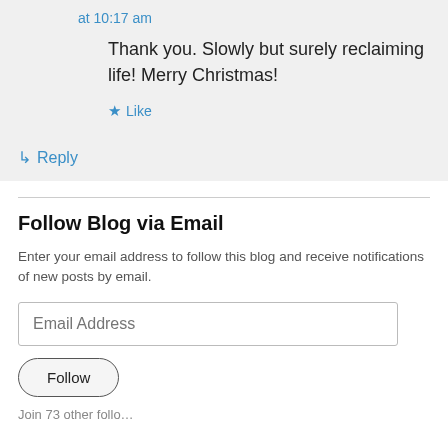at 10:17 am
Thank you. Slowly but surely reclaiming life! Merry Christmas!
★ Like
↳ Reply
Follow Blog via Email
Enter your email address to follow this blog and receive notifications of new posts by email.
Email Address
Follow
Join 73 other follo...